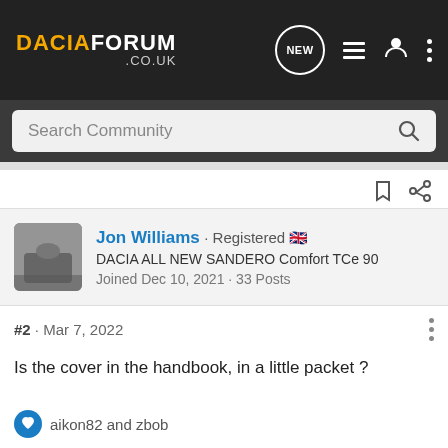DACIAFORUM .CO.UK
Search Community
Jon Williams · Registered 🇬🇧
DACIA ALL NEW SANDERO Comfort TCe 90
Joined Dec 10, 2021 · 33 Posts
#2 · Mar 7, 2022
Is the cover in the handbook, in a little packet ?
aikon82 and zbob